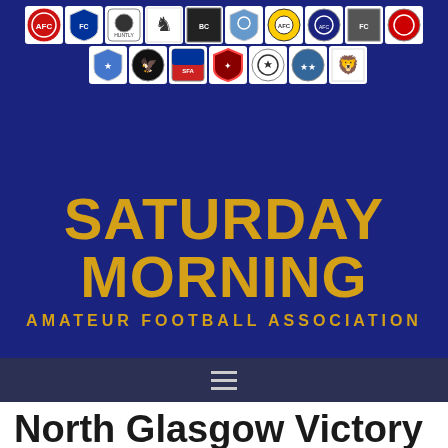[Figure (logo): Saturday Morning Amateur Football Association header banner with dark navy blue background, two rows of football club badge logos, large gold bold text 'SATURDAY MORNING' and subtitle 'AMATEUR FOOTBALL ASSOCIATION']
North Glasgow Victory